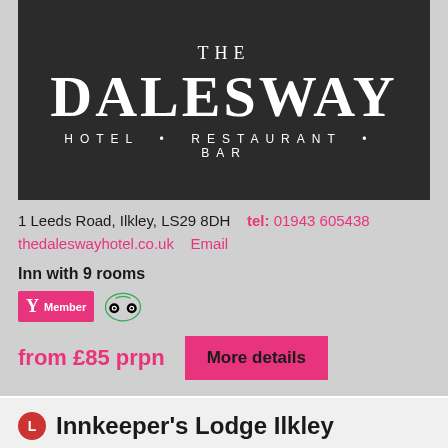[Figure (logo): The Dalesway Hotel Restaurant Bar logo — white text on dark charcoal background]
1 Leeds Road, Ilkley, LS29 8DH   tel: 01943 605438
thedaleswayhotel.co.uk   Email
Inn with 9 rooms
[Figure (logo): AA Yellow badge Member logo and TripAdvisor owl logo badges]
from £85 prpn
More details
Innkeeper's Lodge Ilkley
Hangingstone Road, Ilkley, LS29 8BT